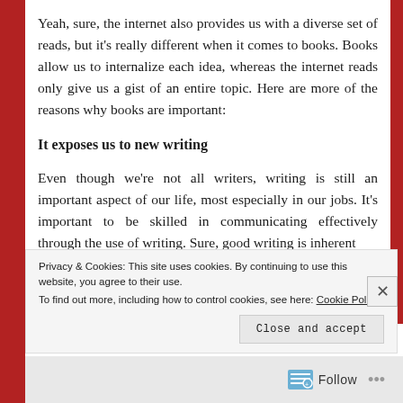Yeah, sure, the internet also provides us with a diverse set of reads, but it's really different when it comes to books. Books allow us to internalize each idea, whereas the internet reads only give us a gist of an entire topic. Here are more of the reasons why books are important:
It exposes us to new writing
Even though we're not all writers, writing is still an important aspect of our life, most especially in our jobs. It's important to be skilled in communicating effectively through the use of writing. Sure, good writing is inherent
Privacy & Cookies: This site uses cookies. By continuing to use this website, you agree to their use.
To find out more, including how to control cookies, see here: Cookie Policy
Close and accept
Follow